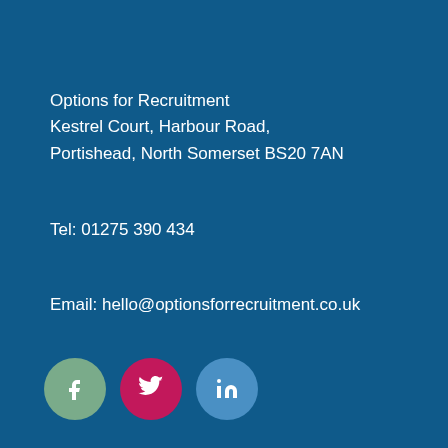Options for Recruitment
Kestrel Court, Harbour Road,
Portishead, North Somerset BS20 7AN
Tel: 01275 390 434
Email: hello@optionsforrecruitment.co.uk
[Figure (other): Three social media icon circles: Facebook (muted green), Twitter (crimson/red), LinkedIn (blue)]
About us
Meet the team